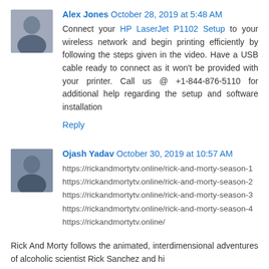Alex Jones  October 28, 2019 at 5:48 AM
Connect your HP LaserJet P1102 Setup to your wireless network and begin printing efficiently by following the steps given in the video. Have a USB cable ready to connect as it won't be provided with your printer. Call us @ +1-844-876-5110 for additional help regarding the setup and software installation
Reply
Ojash Yadav  October 30, 2019 at 10:57 AM
https://rickandmortytv.online/rick-and-morty-season-1
https://rickandmortytv.online/rick-and-morty-season-2
https://rickandmortytv.online/rick-and-morty-season-3
https://rickandmortytv.online/rick-and-morty-season-4
https://rickandmortytv.online/
Rick And Morty follows the animated, interdimensional adventures of alcoholic scientist Rick Sanchez and his